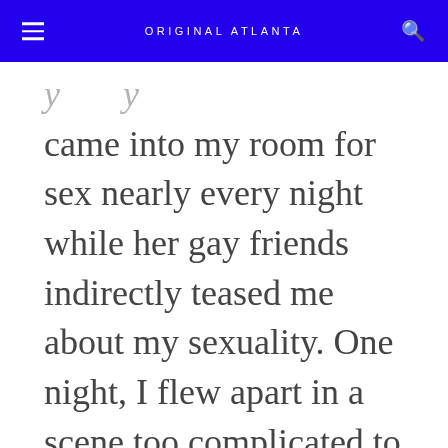ORIGINAL ATLANTA
came into my room for sex nearly every night while her gay friends indirectly teased me about my sexuality. One night, I flew apart in a scene too complicated to explain, but I was soon permanently back in Atlanta, living with my parents, enrolled at Georgia State University. I told myself it was just for a semester, that I would fix things with William and Mary and Yale. I knew I wouldn't.